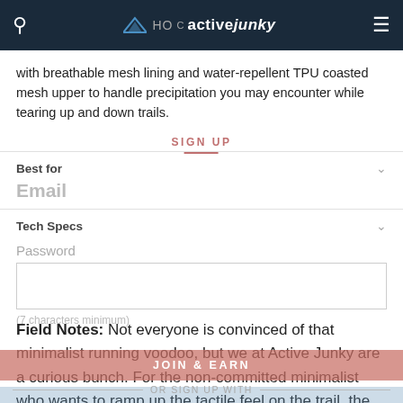Active Junky
with breathable mesh lining and water-repellent TPU coasted mesh upper to handle precipitation you may encounter while tearing up and down trails.
Best for
Tech Specs
SIGN UP
Email
Password
(7 characters minimum)
JOIN & EARN
OR SIGN UP WITH
Field Notes: Not everyone is convinced of that minimalist running voodoo, but we at Active Junky are a curious bunch. For the non-committed minimalist who wants to ramp up the tactile feel on the trail, the Merrell All Out Crush Shield is a great segue, and just in time for